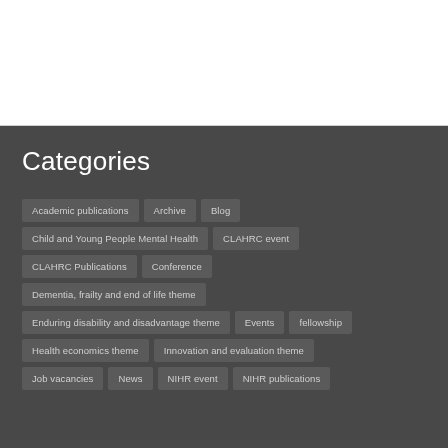Categories
Academic publications
Archive
Blog
Child and Young People Mental Health
CLAHRC event
CLAHRC Publications
Conference
Dementia, frailty and end of life theme
Enduring disability and disadvantage theme
Events
fellowship
Health economics theme
Innovation and evaluation theme
Job vacancies
News
NIHR event
NIHR publications